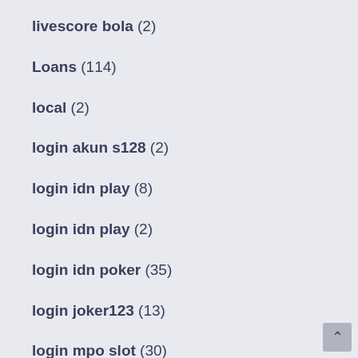livescore bola (2)
Loans (114)
local (2)
login akun s128 (2)
login idn play (8)
login idn play (2)
login idn poker (35)
login joker123 (13)
login mpo slot (30)
login poker idn (33)
login pragmatic play online (4)